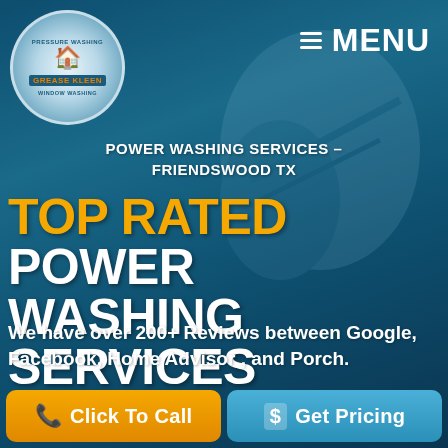[Figure (logo): Grease Kleen Pressure Washing and Window Washing circular logo with house/building icon]
≡ MENU
POWER WASHING SERVICES – FRIENDSWOOD TX
TOP RATED POWER WASHING SERVICES
We have over 200+ Reviews between Google, Facebook, Home Advisor , and Porch.
Click To Call
Get Pricing